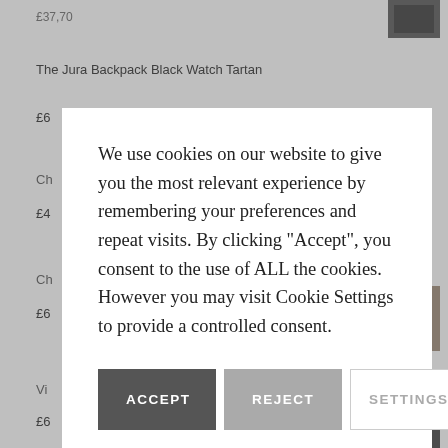The Jura Backpack Black Watch Tartan
£6
Ch
£4
Ch
£6
Vi
£6
Th
£56.00
We use cookies on our website to give you the most relevant experience by remembering your preferences and repeat visits. By clicking "Accept", you consent to the use of ALL the cookies. However you may visit Cookie Settings to provide a controlled consent.
ACCEPT
REJECT
SETTINGS